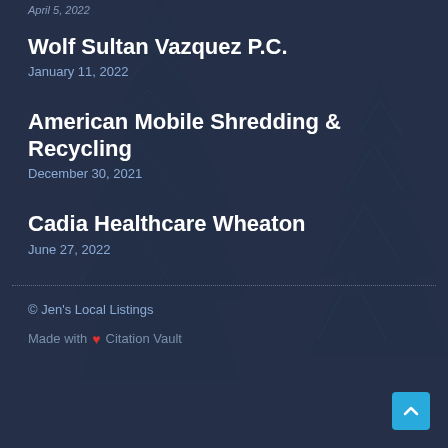April 5, 2022
Wolf Sultan Vazquez P.C.
January 11, 2022
American Mobile Shredding & Recycling
December 30, 2021
Cadia Healthcare Wheaton
June 27, 2022
© Jen's Local Listings
Made with ❤ Citation Vault